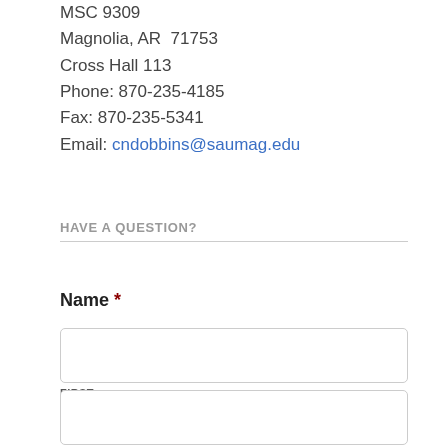MSC 9309
Magnolia, AR  71753
Cross Hall 113
Phone: 870-235-4185
Fax: 870-235-5341
Email: cndobbins@saumag.edu
HAVE A QUESTION?
Name *
FIRST
LAST